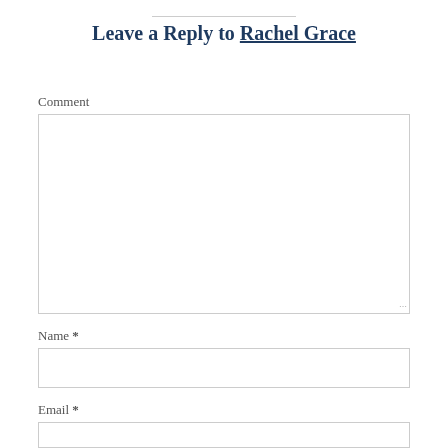Leave a Reply to Rachel Grace
Comment
[Figure (other): Empty comment text area input box]
Name *
[Figure (other): Empty name input field]
Email *
[Figure (other): Partial empty email input field]